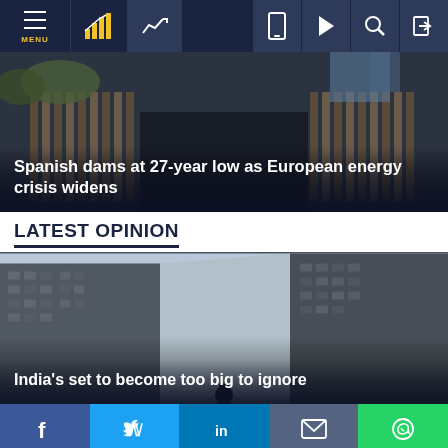Navigation bar with MENU, chart icon, trending icon, mobile icon, play icon, search icon, login icon
[Figure (photo): Aerial/close-up photo of Spanish dam infrastructure showing turbine structures]
Spanish dams at 27-year low as European energy crisis widens
LATEST OPINION
[Figure (photo): Street-level photo looking up between tall apartment buildings in India, person visible at bottom]
India’s set to become too big to ignore
Social sharing bar: Facebook, Twitter, LinkedIn, Email, WhatsApp